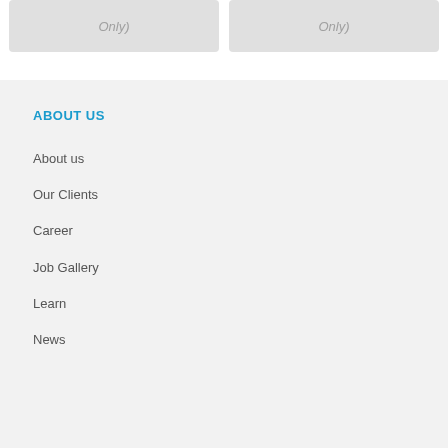[Figure (other): Two gray placeholder card boxes with text 'Only)' visible at top]
ABOUT US
About us
Our Clients
Career
Job Gallery
Learn
News